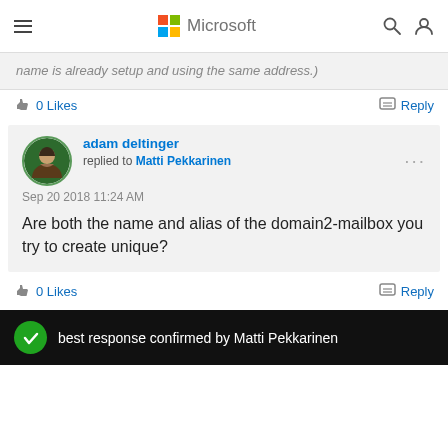Microsoft
name is already setup and using the same address.)
0 Likes   Reply
adam deltinger replied to Matti Pekkarinen
Sep 20 2018 11:24 AM
Are both the name and alias of the domain2-mailbox you try to create unique?
0 Likes   Reply
best response confirmed by Matti Pekkarinen